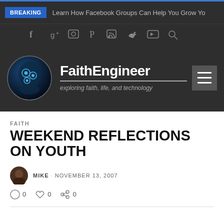BREAKING · Learn How Facebook Groups Can Help You Grow Yo
[Figure (screenshot): Social media icon bar with Facebook, Google+, Instagram, Pinterest, RSS, Twitter, YouTube, and Search icons on dark background]
[Figure (logo): FaithEngineer website logo: circular brain/technology icon with site name FaithEngineer and tagline exploring faith, life, and technology on dark background]
FAITH
WEEKEND REFLECTIONS ON YOUTH
MIKE · NOVEMBER 13, 2007
0  0  0